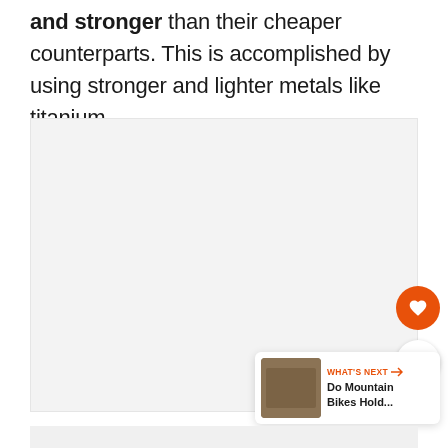and stronger than their cheaper counterparts. This is accomplished by using stronger and lighter metals like titanium.
[Figure (photo): Large light gray image placeholder area with UI elements: heart (favorite) button in orange circle, share button in white circle, and a 'What's Next' card showing a thumbnail and title 'Do Mountain Bikes Hold...']